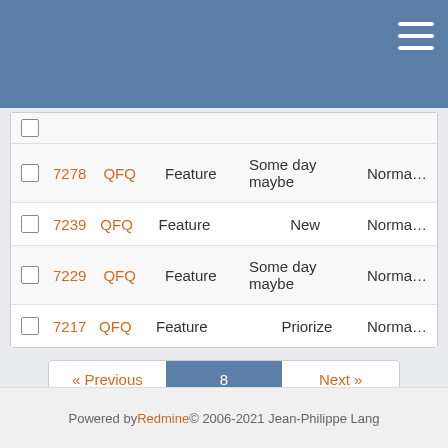Redmine issue tracker header bar
|  | # | Project | Tracker | Status | Priority |
| --- | --- | --- | --- | --- | --- |
|  | 7278 | QFQ | Feature | Some day maybe | Norma… |
|  | 7239 | QFQ | Feature | New | Norma… |
|  | 7229 | QFQ | Feature | Some day maybe | Norma… |
|  | 7217 | QFQ | Feature | Priorize | Norma… |
« Previous  8  Next »
(176-200/562) Per page: 25, 50, 100
Also available in: Atom | CSV | PDF
Powered by Redmine © 2006-2021 Jean-Philippe Lang